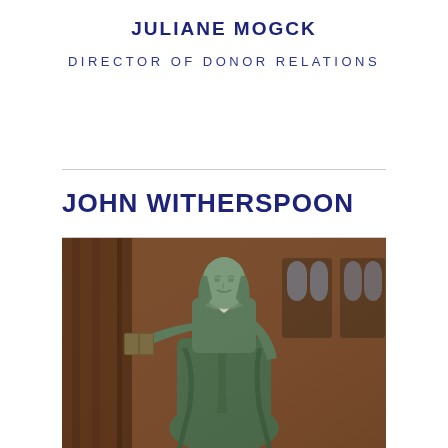JULIANE MOGCK
DIRECTOR OF DONOR RELATIONS
JOHN WITHERSPOON
[Figure (photo): Photograph of a bronze statue of John Witherspoon holding a book, with a brick building in the background featuring arched windows.]